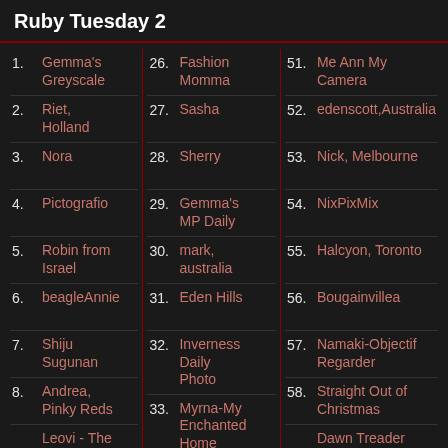Ruby Tuesday 2
1. Gemma's Greyscale
2. Riet, Holland
3. Nora
4. Pictografio
5. Robin from Israel
6. beagleAnnie
7. Shiju Sugunan
8. Andrea, Pinky Reds
9. Leovi - The beach of...
26. Fashion Momma
27. Sasha
28. Sherry
29. Gemma's MP Daily
30. mark, australia
31. Eden Hills
32. Inverness Daily Photo
33. Myrna-My Enchanted Home
34. Pat ~ Mille
51. Me Ann My Camera
52. edenscott,Australia
53. Nick, Melbourne
54. NixPixMix
55. Halcyon, Toronto
56. Bougainvillea
57. Namaki-Objectif Regarder
58. Straight Out of Christmas
59. Dawn Treader